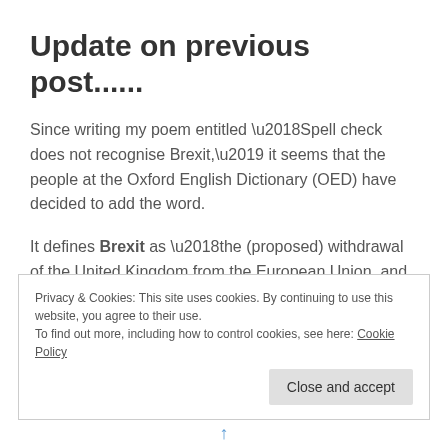Update on previous post......
Since writing my poem entitled ‘Spell check does not recognise Brexit,’ it seems that the people at the Oxford English Dictionary (OED) have decided to add the word.
It defines Brexit as ‘the (proposed) withdrawal of the United Kingdom from the European Union, and the political process associated with it.’
Privacy & Cookies: This site uses cookies. By continuing to use this website, you agree to their use.
To find out more, including how to control cookies, see here: Cookie Policy
Close and accept